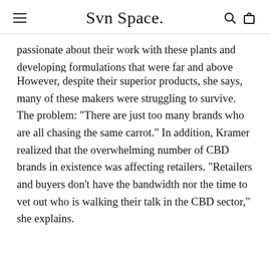Svn Space.
passionate about their work with these plants and developing formulations that were far and above superior to much of what was flooding the market.” However, despite their superior products, she says, many of these makers were struggling to survive. The problem: “There are just too many brands who are all chasing the same carrot.” In addition, Kramer realized that the overwhelming number of CBD brands in existence was affecting retailers. “Retailers and buyers don’t have the bandwidth nor the time to vet out who is walking their talk in the CBD sector,” she explains.